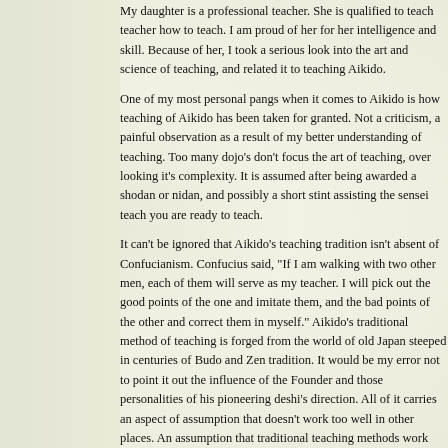My daughter is a professional teacher. She is qualified to teach teacher how to teach. I am proud of her for her intelligence and skill. Because of her, I took a serious look into the art and science of teaching, and related it to teaching Aikido.
One of my most personal pangs when it comes to Aikido is how teaching of Aikido has been taken for granted. Not a criticism, a painful observation as a result of my better understanding of teaching. Too many dojo's don't focus the art of teaching, over looking it's complexity. It is assumed after being awarded a shodan or nidan, and possibly a short stint assisting the sensei teach you are ready to teach.
It can't be ignored that Aikido's teaching tradition isn't absent of Confucianism. Confucius said, "If I am walking with two other men, each of them will serve as my teacher. I will pick out the good points of the one and imitate them, and the bad points of the other and correct them in myself." Aikido's traditional method of teaching is forged from the world of old Japan steeped in centuries of Budo and Zen tradition. It would be my error not to point it out the influence of the Founder and those personalities of his pioneering deshi's direction. All of it carries an aspect of assumption that doesn't work too well in other places. An assumption that traditional teaching methods work outside Japan.
Traditional teaching of Aikido offered from a person's...